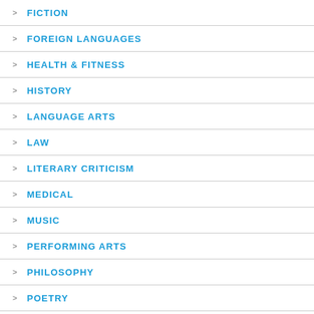FICTION
FOREIGN LANGUAGES
HEALTH & FITNESS
HISTORY
LANGUAGE ARTS
LAW
LITERARY CRITICISM
MEDICAL
MUSIC
PERFORMING ARTS
PHILOSOPHY
POETRY
POLITICAL SCIENCE